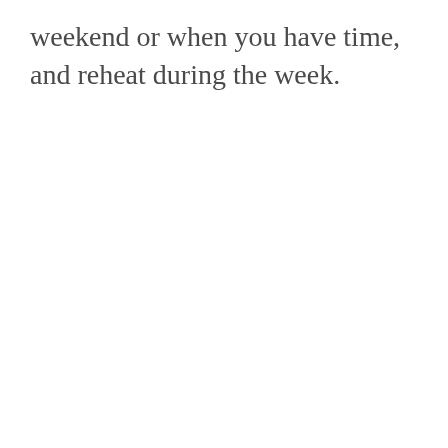weekend or when you have time, and reheat during the week.